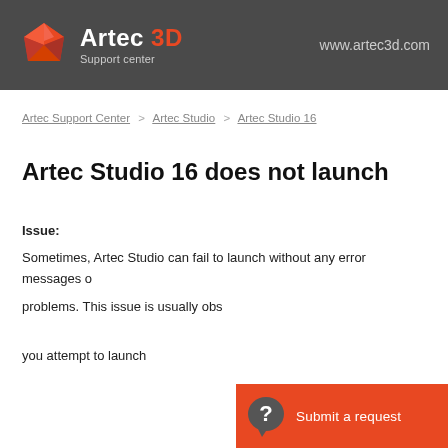Artec 3D Support center — www.artec3d.com
Artec Support Center > Artec Studio > Artec Studio 16
Artec Studio 16 does not launch
Issue:
Sometimes, Artec Studio can fail to launch without any error messages or problems. This issue is usually obs...
you attempt to launch
[Figure (other): Submit a request button overlay with question mark chat bubble icon on orange background]